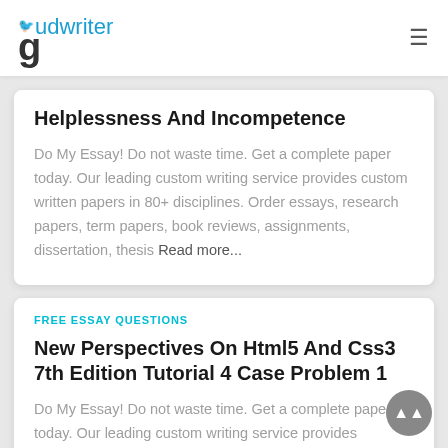gudwriter
Helplessness And Incompetence
Do My Essay! Do not waste time. Get a complete paper today. Our leading custom writing service provides custom written papers in 80+ disciplines. Order essays, research papers, term papers, book reviews, assignments, dissertation, thesis Read more...
FREE ESSAY QUESTIONS
New Perspectives On Html5 And Css3 7th Edition Tutorial 4 Case Problem 1
Do My Essay! Do not waste time. Get a complete paper today. Our leading custom writing service provides